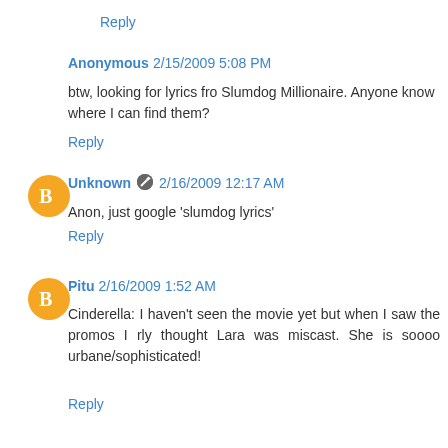Reply
Anonymous 2/15/2009 5:08 PM
btw, looking for lyrics fro Slumdog Millionaire. Anyone know where I can find them?
Reply
Unknown 2/16/2009 12:17 AM
Anon, just google 'slumdog lyrics'
Reply
Pitu 2/16/2009 1:52 AM
Cinderella: I haven't seen the movie yet but when I saw the promos I rly thought Lara was miscast. She is soooo urbane/sophisticated!
Reply